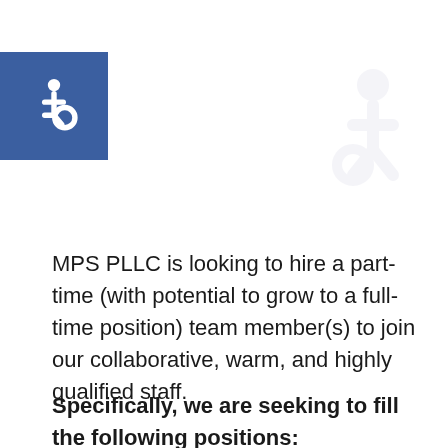[Figure (logo): Blue square with white wheelchair accessibility icon]
MPS PLLC is looking to hire a part-time (with potential to grow to a full-time position) team member(s) to join our collaborative, warm, and highly qualified staff.
Specifically, we are seeking to fill the following positions: